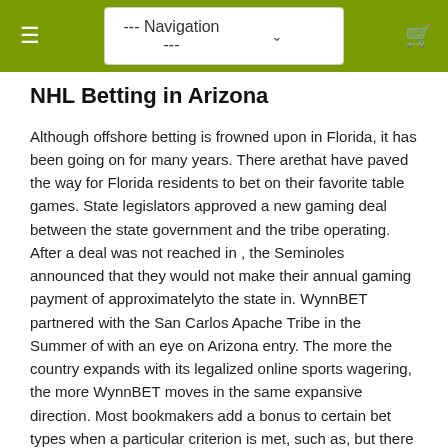--- Navigation ---
NHL Betting in Arizona
Although offshore betting is frowned upon in Florida, it has been going on for many years. There arethat have paved the way for Florida residents to bet on their favorite table games. State legislators approved a new gaming deal between the state government and the tribe operating. After a deal was not reached in , the Seminoles announced that they would not make their annual gaming payment of approximatelyto the state in. WynnBET partnered with the San Carlos Apache Tribe in the Summer of with an eye on Arizona entry. The more the country expands with its legalized online sports wagering, the more WynnBET moves in the same expansive direction. Most bookmakers add a bonus to certain bet types when a particular criterion is met, such as, but there areoften conditions attached. Many bookmakers will only apply a bonus to bets that consistof horse racing and/or greyhound selections exceptante post. Images by Getty Images and US Presswire. Nathan's Hot Dog Eating Contest. DraftKings does not have a partnership with a